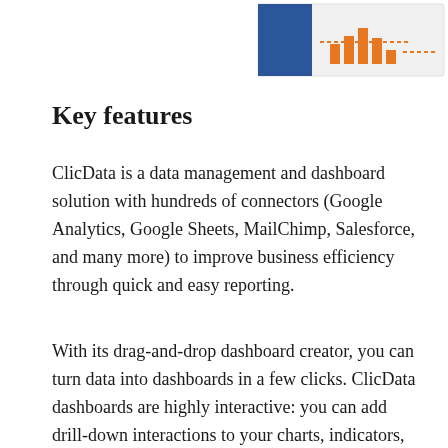[Figure (logo): ClicData logo with blue square icon and orange bar chart illustration on light background]
Key features
ClicData is a data management and dashboard solution with hundreds of connectors (Google Analytics, Google Sheets, MailChimp, Salesforce, and many more) to improve business efficiency through quick and easy reporting.
With its drag-and-drop dashboard creator, you can turn data into dashboards in a few clicks. ClicData dashboards are highly interactive: you can add drill-down interactions to your charts, indicators, and tables and display sub tables